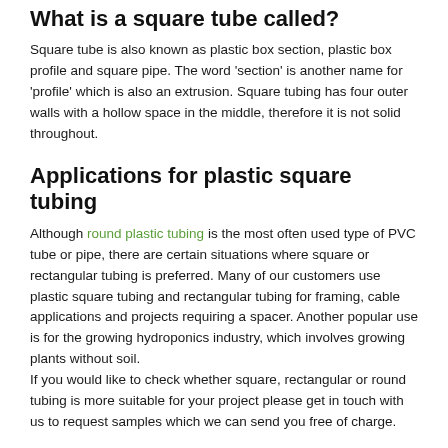What is a square tube called?
Square tube is also known as plastic box section, plastic box profile and square pipe. The word 'section' is another name for 'profile' which is also an extrusion. Square tubing has four outer walls with a hollow space in the middle, therefore it is not solid throughout.
Applications for plastic square tubing
Although round plastic tubing is the most often used type of PVC tube or pipe, there are certain situations where square or rectangular tubing is preferred. Many of our customers use plastic square tubing and rectangular tubing for framing, cable applications and projects requiring a spacer. Another popular use is for the growing hydroponics industry, which involves growing plants without soil.
If you would like to check whether square, rectangular or round tubing is more suitable for your project please get in touch with us to request samples which we can send you free of charge.
How our plastic square tube is measured
Our plastic square tube is measured externally, which means